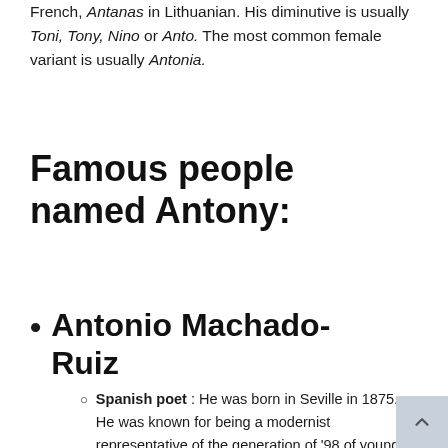French, Antanas in Lithuanian. His diminutive is usually Toni, Tony, Nino or Anto. The most common female variant is usually Antonia.
Famous people named Antony:
Antonio Machado-Ruiz
Spanish poet : He was born in Seville in 1875. He was known for being a modernist representative of the generation of '98 of young writers, poets, and essayists in